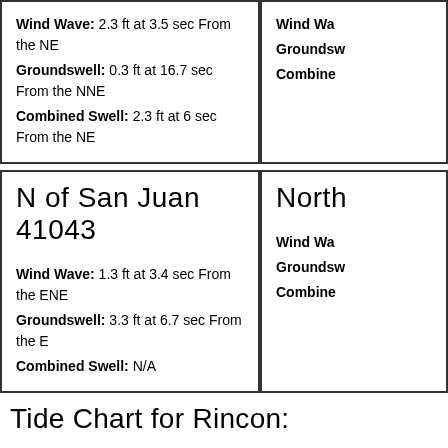Wind Wave: 2.3 ft at 3.5 sec From the NE
Groundswell: 0.3 ft at 16.7 sec From the NNE
Combined Swell: 2.3 ft at 6 sec From the NE
Wind Wave: (truncated)
Groundswell: (truncated)
Combined: (truncated)
N of San Juan 41043
Wind Wave: 1.3 ft at 3.4 sec From the ENE
Groundswell: 3.3 ft at 6.7 sec From the E
Combined Swell: N/A
North
Wind Wave:
Groundswell:
Combine
Tide Chart for Rincon: